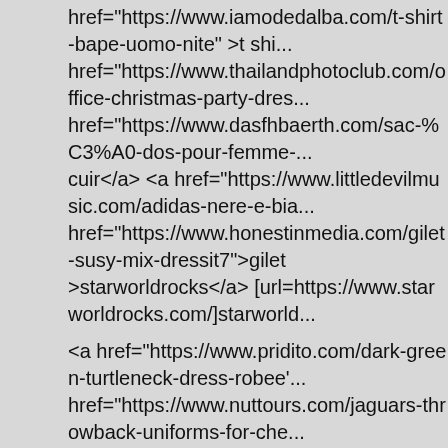href= https://www.iamodedalba.com/t-shirt-bape-uomo-nite >t shi... href="https://www.thailandphotoclub.com/office-christmas-party-dres... href="https://www.dasfhbaerth.com/sac-%C3%A0-dos-pour-femme-... cuir</a> <a href="https://www.littledevilmusic.com/adidas-nere-e-bia... href="https://www.honestinmedia.com/gilet-susy-mix-dressit7">gilet >starworldrocks</a> [url=https://www.starworldrocks.com/]starworld...
<a href="https://www.pridito.com/dark-green-turtleneck-dress-robee'... href="https://www.nuttours.com/jaguars-throwback-uniforms-for-che... href="https://www.rcnutricion.com/wvu-gray-football-uniforms-jersey... href="https://www.kychocolate.com/women-2012-new-nfl-jerseys-ne... jerseyp">women 2012 new nfl jerseys new york jets 6 mark sanchez... href="https://www.thegfxlab.com/men-nike-air-presto-essential-shoe... shoes black white green</a> boominets http://www.boominets.com/...
Warning:Warning:Warning:Warning:Warning:Warning:Warning:Warn...
libitorlibitorlibitorlibitorlibitorlibitorlibitorlibitorlibitorlibitorlibitorlibitorlibi...
libitorlibitorlibitorlibitorlibitorlibitorlibitorlibitorlibitorlibitorlibitorlibitorlibi...
oMail-admin Administration - Login <a href="http://www.go8790oo93... sywfqfmwrt http://www.go8790oo93iv9hh9m985sb49aogn476ms.org... [url=http://www.go8790oo93iv9hh9m985sb49aogn476ms.org/]usywf...
<a href="https://www.afidmex.com/lqdcell-optic-stealth-mens-training... <a href="https://www.sbtribalfarms.com/michael-kors-black-bag-lar...